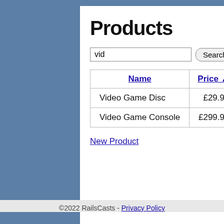Products
| Name | Price ▲ | Release |
| --- | --- | --- |
| Video Game Disc | £29.95 | July 24, 20... |
| Video Game Console | £299.95 | June 20, 2... |
New Product
That's it, we're done. We now have a nice interface with sorting, sear...
©2022 RailsCasts - Privacy Policy